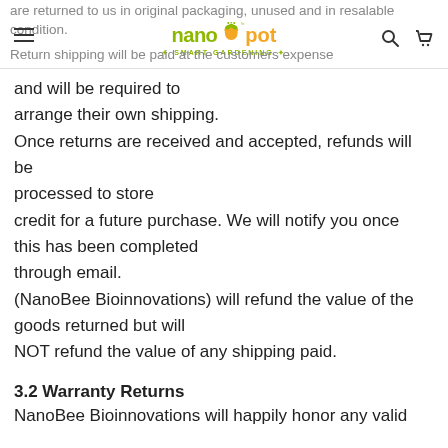are returned to us in original packaging, unused and in resalable condition. Return shipping will be paid at the customers expense
and will be required to arrange their own shipping. Once returns are received and accepted, refunds will be processed to store credit for a future purchase. We will notify you once this has been completed through email. (NanoBee Bioinnovations) will refund the value of the goods returned but will NOT refund the value of any shipping paid.
3.2 Warranty Returns
NanoBee Bioinnovations will happily honor any valid